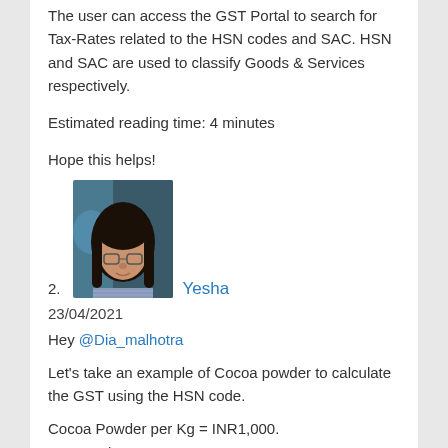The user can access the GST Portal to search for Tax-Rates related to the HSN codes and SAC. HSN and SAC are used to classify Goods & Services respectively.
Estimated reading time: 4 minutes
Hope this helps!
[Figure (photo): Profile photo of Yesha, a woman with glasses and long dark hair, wearing a striped shirt, with a blue background]
2. Yesha
23/04/2021
Hey @Dia_malhotra
Let's take an example of Cocoa powder to calculate the GST using the HSN code.
Cocoa Powder per Kg = INR1,000.
HSN Code = 18 05 00 00
GST Rate = 18% (For Cocoa powder, not containing added sugar or sweetening matter)